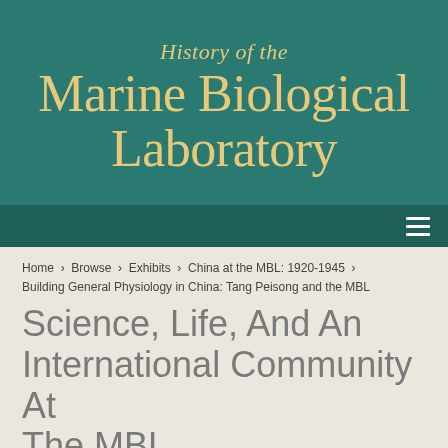History of the Marine Biological Laboratory
navigation menu
Home › Browse › Exhibits › China at the MBL: 1920-1945 › Building General Physiology in China: Tang Peisong and the MBL
Science, Life, And An International Community At The MBL
China at the MBL: 1920-1945
The First Chinese Student: Yen Hui Ching